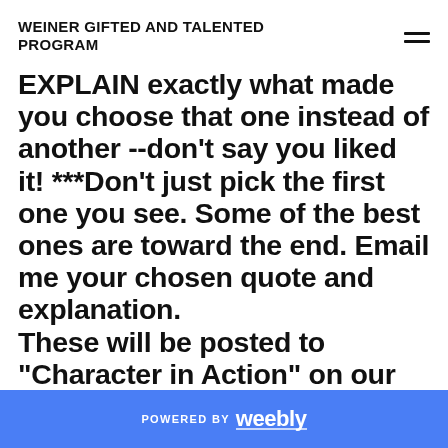WEINER GIFTED AND TALENTED PROGRAM
EXPLAIN exactly what made you choose that one instead of another --don’t say you liked it! ***Don’t just pick the first one you see. Some of the best ones are toward the end. Email me your chosen quote and explanation.
These will be posted to “Character in Action” on our website!
POWERED BY weebly